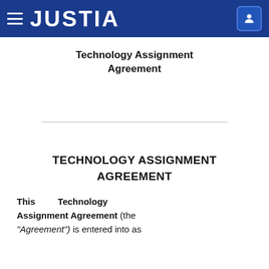JUSTIA
Technology Assignment Agreement
TECHNOLOGY ASSIGNMENT AGREEMENT
This Technology Assignment Agreement (the "Agreement") is entered into as